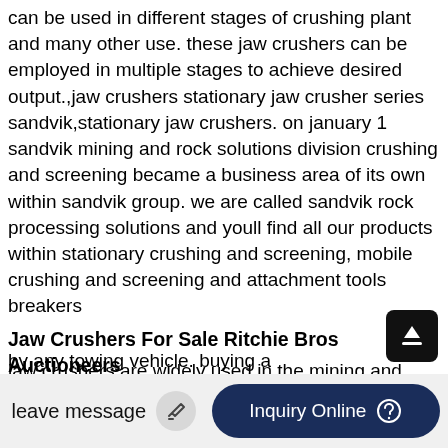can be used in different stages of crushing plant and many other use. these jaw crushers can be employed in multiple stages to achieve desired output.,jaw crushers stationary jaw crusher series sandvik,stationary jaw crushers. on january 1 sandvik mining and rock solutions division crushing and screening became a business area of its own within sandvik group. we are called sandvik rock processing solutions and youll find all our products within stationary crushing and screening, mobile crushing and screening and attachment tools breakers
Jaw Crushers For Sale Ritchie Bros Auctioneers
jaw crushers are widely used in the mining and construction industry due to great efficiency in every crushing tasks. they allow operators to crush the materials to a specific size by
by any towing vehicle. buying a